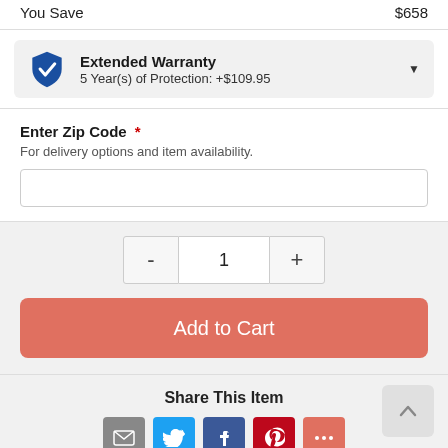You Save $658
Extended Warranty
5 Year(s) of Protection: +$109.95
Enter Zip Code *
For delivery options and item availability.
1
Add to Cart
Share This Item